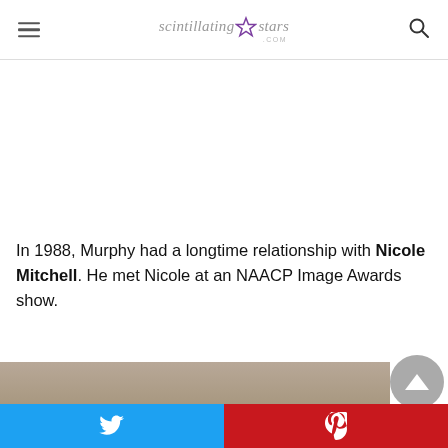scintillating★stars.com
[Figure (photo): Blank advertisement area]
In 1988, Murphy had a longtime relationship with Nicole Mitchell. He met Nicole at an NAACP Image Awards show.
[Figure (photo): Partial photo of a person at the bottom of the page]
Twitter share button | Pinterest share button